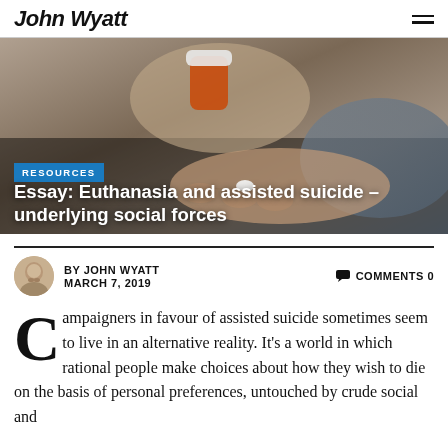John Wyatt
[Figure (photo): Close-up photo of elderly hands, one holding an orange prescription pill bottle and the other receiving a white pill.]
RESOURCES
Essay: Euthanasia and assisted suicide – underlying social forces
BY JOHN WYATT   MARCH 7, 2019
COMMENTS 0
Campaigners in favour of assisted suicide sometimes seem to live in an alternative reality. It's a world in which rational people make choices about how they wish to die on the basis of personal preferences, untouched by crude social and